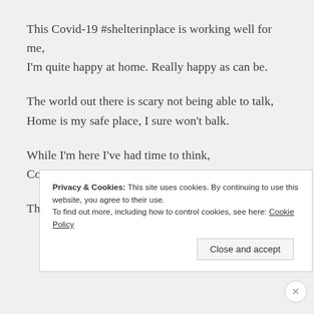This Covid-19 #shelterinplace is working well for me,
I'm quite happy at home. Really happy as can be.
The world out there is scary not being able to talk,
Home is my safe place, I sure won't balk.
While I'm here I've had time to think,
Count yourself blessed if you can speak.
There are so many things I'd like to talk about,
Privacy & Cookies: This site uses cookies. By continuing to use this website, you agree to their use.
To find out more, including how to control cookies, see here: Cookie Policy
Close and accept